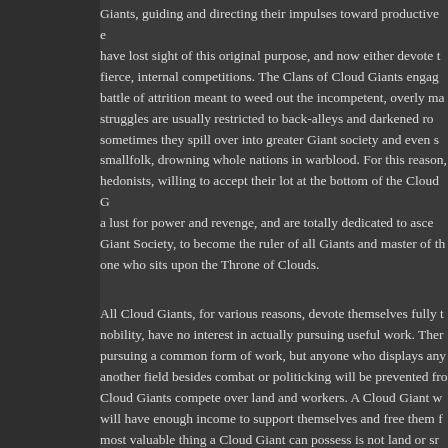Giants, guiding and directing their impulses toward productive e have lost sight of this original purpose, and now either devote t fierce, internal competitions. The Clans of Cloud Giants engag battle of attrition meant to weed out the incompetent, overly ma struggles are usually restricted to back-alleys and darkened ro sometimes they spill over into greater Giant society and even s smallfolk, drowning whole nations in warblood. For this reason, hedonists, willing to accept their lot at the bottom of the Cloud G a lust for power and revenge, and are totally dedicated to asce Giant Society, to become the ruler of all Giants and master of th one who sits upon the Throne of Clouds.
All Cloud Giants, for various reasons, devote themselves fully t nobility, have no interest in actually pursuing useful work. Ther pursuing a common form of work, but anyone who displays any another field besides combat or politicking will be prevented fro Cloud Giants compete over land and workers. A Cloud Giant w will have enough income to support themselves and free them f most valuable thing a Cloud Giant can possess is not land or sr rulers, Cloud Giants are the only ones entitled to buy and sell o Cloud Giant or by asking a lower caste Giant to sell themselves while some Giants are free, able to pursue their own destinies a own labor, many more are owned by Cloud Giants. To a Giant, discouraged. To them, slavery and being owned are the natura